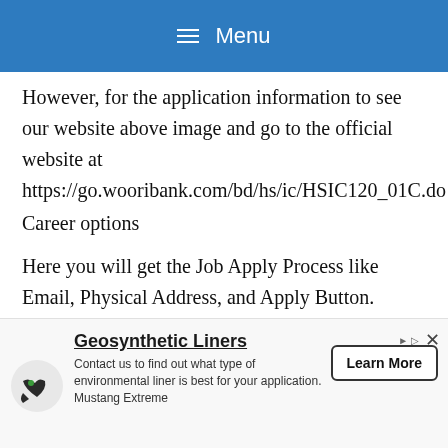Menu
However, for the application information to see our website above image and go to the official website at https://go.wooribank.com/bd/hs/ic/HSIC120_01C.do
Career options
Here you will get the Job Apply Process like Email, Physical Address, and Apply Button.  Anyway, if you have to face any problems with Woori Bank
[Figure (other): Advertisement for Geosynthetic Liners by Mustang Extreme with Learn More button and company logo]